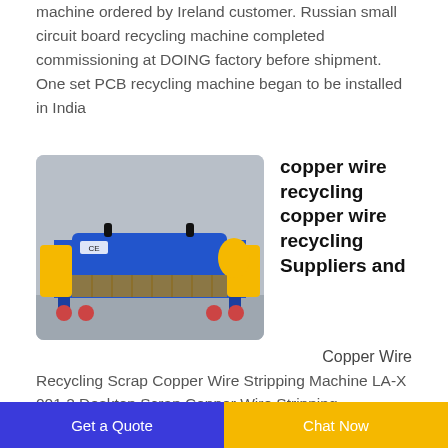machine ordered by Ireland customer. Russian small circuit board recycling machine completed commissioning at DOING factory before shipment. One set PCB recycling machine began to be installed in India
[Figure (photo): Blue and yellow copper wire recycling / stripping machine on wheels, with CE marking, photographed in a factory setting.]
copper wire recycling copper wire recycling Suppliers and
Copper Wire Recycling Scrap Copper Wire Stripping Machine LA-X 001 2 Desktop Scrap Copper Wire Stripping
Get a Quote
Chat Now